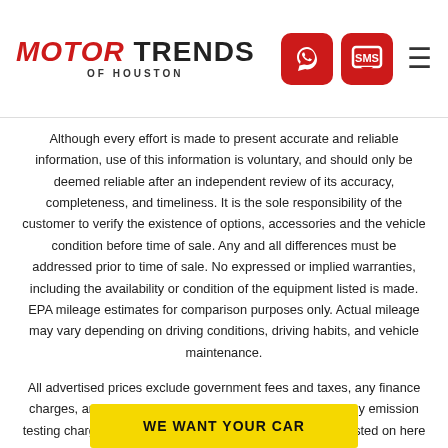MOTOR TRENDS OF HOUSTON
Although every effort is made to present accurate and reliable information, use of this information is voluntary, and should only be deemed reliable after an independent review of its accuracy, completeness, and timeliness. It is the sole responsibility of the customer to verify the existence of options, accessories and the vehicle condition before time of sale. Any and all differences must be addressed prior to time of sale. No expressed or implied warranties, including the availability or condition of the equipment listed is made. EPA mileage estimates for comparison purposes only. Actual mileage may vary depending on driving conditions, driving habits, and vehicle maintenance.
All advertised prices exclude government fees and taxes, any finance charges, any dealer document preparation charge, and any emission testing charge. While we try to make sure that all prices posted on here are accurate at all times, we cannot be
WE WANT YOUR CAR